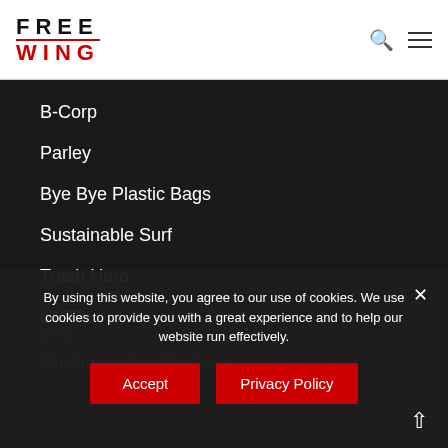FREE WING
B-Corp
Parley
Bye Bye Plastic Bags
Sustainable Surf
Trash Hero
UNTIL
Our Innovation Partners
By using this website, you agree to our use of cookies. We use cookies to provide you with a great experience and to help our website run effectively.